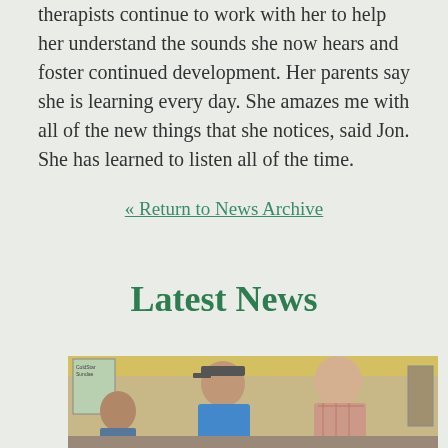therapists continue to work with her to help her understand the sounds she now hears and foster continued development. Her parents say she is learning every day. She amazes me with all of the new things that she notices, said Jon. She has learned to listen all of the time.
« Return to News Archive
Latest News
[Figure (photo): Photo of people inside a restaurant or café interior, showing at least two men smiling, with a yellow ceiling and signage visible in the background.]